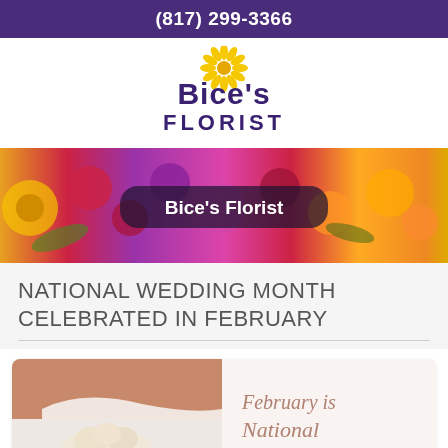(817) 299-3366
[Figure (logo): Bice's Florist logo with yellow sunflower graphic above bold purple text 'Bice's FLORIST']
[Figure (photo): Colorful floral arrangement banner with a dark rounded rectangle overlay containing the text 'Bice's Florist' in white bold font]
NATIONAL WEDDING MONTH CELEBRATED IN FEBRUARY
[Figure (photo): Bride holding white floral bouquet on the left side; right side shows cursive text reading 'February is National']